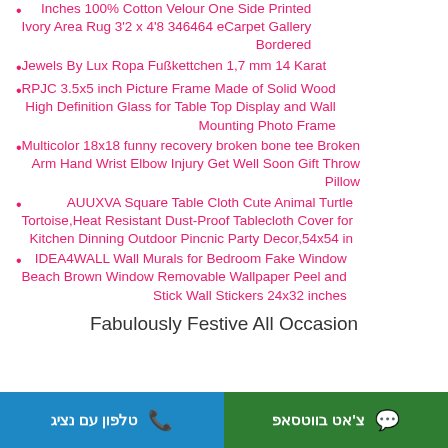Inches 100% Cotton Velour One Side Printed Ivory Area Rug 3'2 x 4'8 346464 eCarpet Gallery Bordered
Jewels By Lux Ropa Fußkettchen 1,7 mm 14 Karat
RPJC 3.5x5 inch Picture Frame Made of Solid Wood High Definition Glass for Table Top Display and Wall Mounting Photo Frame
Multicolor 18x18 funny recovery broken bone tee Broken Arm Hand Wrist Elbow Injury Get Well Soon Gift Throw Pillow
AUUXVA Square Table Cloth Cute Animal Turtle Tortoise,Heat Resistant Dust-Proof Tablecloth Cover for Kitchen Dinning Outdoor Pincnic Party Decor,54x54 in
IDEA4WALL Wall Murals for Bedroom Fake Window Beach Brown Window Removable Wallpaper Peel and Stick Wall Stickers 24x32 inches
Fabulously Festive All Occasion
טלפון עם נציג | צ'אט בווטסאפ